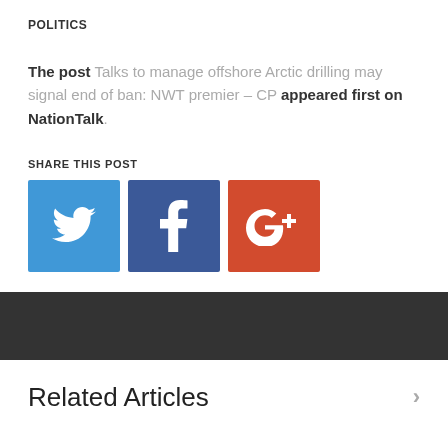POLITICS
The post Talks to manage offshore Arctic drilling may signal end of ban: NWT premier – CP appeared first on NationTalk.
SHARE THIS POST
[Figure (other): Social share buttons: Twitter (blue bird icon), Facebook (dark blue f icon), Google+ (red G+ icon)]
Related Articles